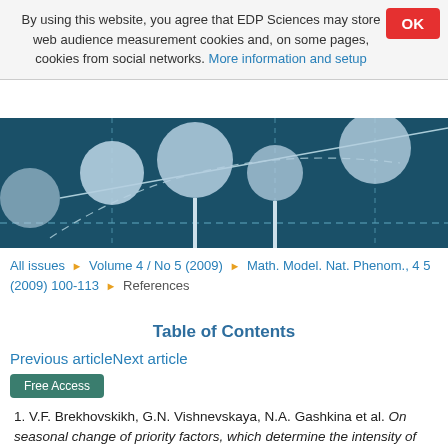By using this website, you agree that EDP Sciences may store web audience measurement cookies and, on some pages, cookies from social networks. More information and setup
[Figure (illustration): Dark teal hero image showing a network/graph diagram with light blue circular nodes connected by lines and dashed curves on a dark blue background]
All issues ▶ Volume 4 / No 5 (2009) ▶ Math. Model. Nat. Phenom., 4 5 (2009) 100-113 ▶ References
Table of Contents
Previous articleNext article
Free Access
1. V.F. Brekhovskikh, G.N. Vishnevskaya, N.A. Gashkina et al. On seasonal change of priority factors, which determine the intensity of consumption of oxygen by